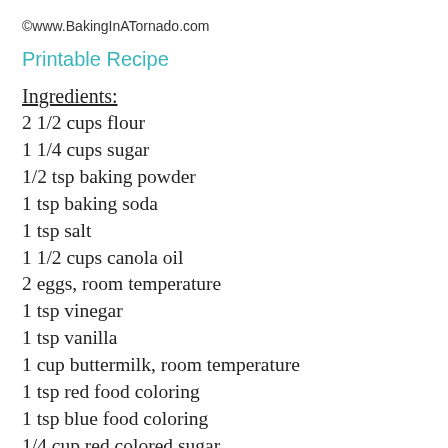©www.BakingInATornado.com
Printable Recipe
Ingredients:
2 1/2 cups flour
1 1/4 cups sugar
1/2 tsp baking powder
1 tsp baking soda
1 tsp salt
1 1/2 cups canola oil
2 eggs, room temperature
1 tsp vinegar
1 tsp vanilla
1 cup buttermilk, room temperature
1 tsp red food coloring
1 tsp blue food coloring
1/4 cup red colored sugar
1/4 cup blue colored sugar
1/2 cup raspberries, if large, cut in half (if you're using